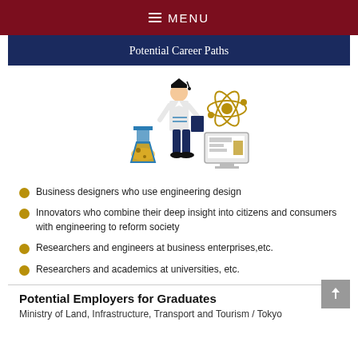≡ MENU
Potential Career Paths
[Figure (illustration): Illustration of a scientist/engineer walking in a lab coat, with a flask, atom symbol, and computer monitor in the background]
Business designers who use engineering design
Innovators who combine their deep insight into citizens and consumers with engineering to reform society
Researchers and engineers at business enterprises,etc.
Researchers and academics at universities, etc.
Potential Employers for Graduates
Ministry of Land, Infrastructure, Transport and Tourism / Tokyo